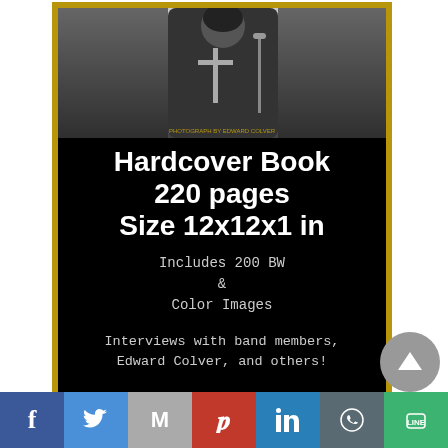[Figure (photo): Black and white photograph of a rock musician holding a cross, on stage]
Hardcover Book
220 pages
Size 12x12x1 in
Includes 200 BW
&
Color Images
Interviews with band members, Edward Colver, and others!
[Figure (other): Social sharing bar with Facebook, Twitter, Gmail, Pinterest, LinkedIn, WhatsApp, and LINE buttons]